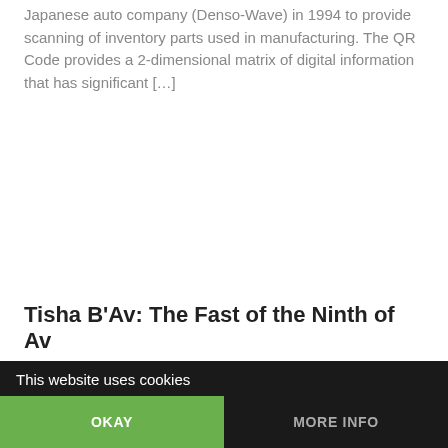Japanese auto company (Denso-Wave) in 1994 to provide scanning of inventory parts used in manufacturing. The QR Code provides a 2-dimensional matrix of digital information that has significant […]
Tisha B'Av: The Fast of the Ninth of Av
For thousands of years, the Jews have observed this day, the 9th of Av, as an annual date of solemn remembrance. It is a day of fasting that represents past days of tragedy for the Jews. It typically occurs on the Jews calendar during the month of July. According to Jewish writings, Solomon's temple was […]
This website uses cookies
OKAY
MORE INFO